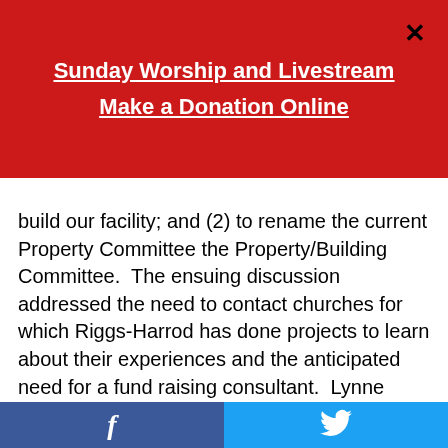Sunday Worship and Livestream
Make a Donation Online
build our facility; and (2) to rename the current Property Committee the Property/Building Committee.  The ensuing discussion addressed the need to contact churches for which Riggs-Harrod has done projects to learn about their experiences and the anticipated need for a fund raising consultant.  Lynne Hoerter asked about the membership of the Property/Building Committee.  It was agreed that meetings of the committee should be announced and that anyone in the congregation is welcome to attend.  The motions, coming from committee, did not require seconds and both were approved without dissent.  Mindy thanked Bart for his presentation and he left the meeting.  Chuck suggested that time be set aside at the fall retreat to talk about the timing of a capital campaign.  Ed recommended getting some guidance from the consultant on what questions we should be addressing
Facebook  Twitter